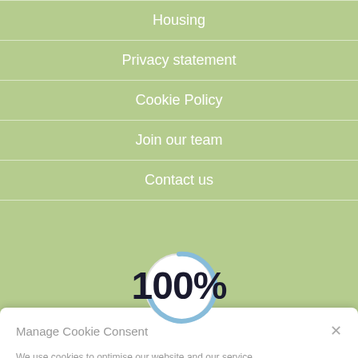Housing
Privacy statement
Cookie Policy
Join our team
Contact us
[Figure (other): Circular loading spinner, partially complete arc in light blue/gray on white circle]
Manage Cookie Consent
We use cookies to optimise our website and our service.
Accept cookies
100%
Deny
View preferences